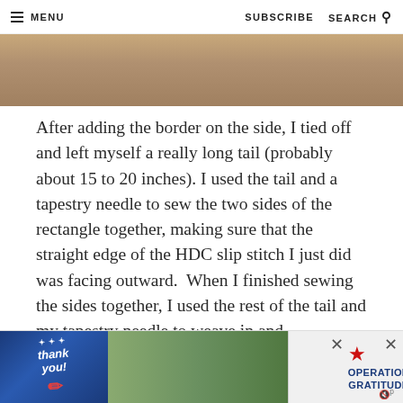≡ MENU   SUBSCRIBE   SEARCH 🔍
[Figure (photo): Partial view of a knitted or crocheted item, showing texture and warm tones, cropped at the top of the page]
After adding the border on the side, I tied off and left myself a really long tail (probably about 15 to 20 inches). I used the tail and a tapestry needle to sew the two sides of the rectangle together, making sure that the straight edge of the HDC slip stitch I just did was facing outward.  When I finished sewing the sides together, I used the rest of the tail and my tapestry needle to weave in and
[Figure (photo): Advertisement banner at bottom: 'Thank you!' text on blue background with red star and pencil graphic on left; military personnel photo in middle; 'Operation Gratitude' logo on right with close buttons]